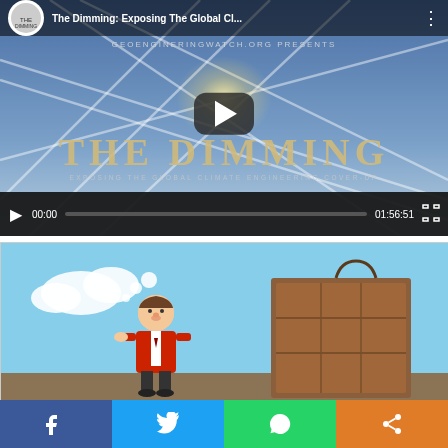[Figure (screenshot): YouTube-style video player showing 'The Dimming: Exposing The Global Cl...' with play button, progress bar at 00:00 of 01:56:51, fullscreen button. Video thumbnail shows sky with contrails and large text 'THE DIMMING' and subtitle 'EXPOSING THE GLOBAL CLIMATE ENGINEERING COVER-UP'. Channel: GeoEngineeringWatch.org]
[Figure (illustration): Political cartoon showing a man in a red jacket looking at a large wooden crate/box, set against a blue sky with clouds background.]
[Figure (infographic): Social media share bar at bottom with four buttons: Facebook (blue), Twitter (light blue), WhatsApp (green), and a share/other button (orange).]